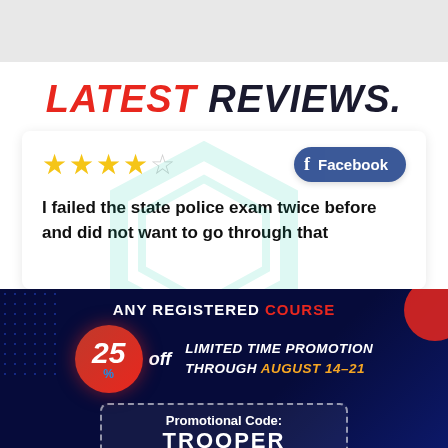LATEST REVIEWS.
I failed the state police exam twice before and did not want to go through that
[Figure (infographic): Review card with 4 out of 5 stars and Facebook badge]
ANY REGISTERED COURSE
25% off LIMITED TIME PROMOTION THROUGH AUGUST 14-21
Promotional Code: TROOPER